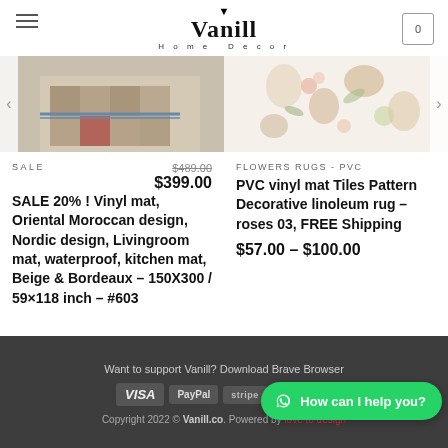Vanill Home Decor
[Figure (photo): Left product image: vinyl mat with Oriental Moroccan tile pattern in beige and bordeaux colors]
[Figure (photo): Right product image: PVC vinyl mat with floral roses pattern on light background]
SALE
SALE 20% ! Vinyl mat, Oriental Moroccan design, Nordic design, Livingroom mat, waterproof, kitchen mat, Beige & Bordeaux – 150X300 / 59×118 inch – #603
$489.00 $399.00
FLOWERS RUGS - PVC
PVC vinyl mat Tiles Pattern Decorative linoleum rug – roses 03, FREE Shipping
$57.00 – $100.00
Want to support Vanill? Download Brave Browser
VISA PayPal stripe
Copyright 2022 © Vanill.co. Powered by love to design